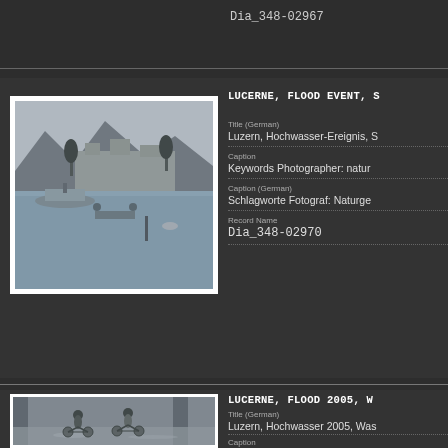Dia_348-02967
[Figure (photo): Black and white photograph of Lucerne flood event showing waterfront buildings, trees, and a boat on a flooded lake or river scene]
LUCERNE, FLOOD EVENT, S
Title (German)
Luzern, Hochwasser-Ereignis, S
Caption
Keywords Photographer: natur
Caption (German)
Schlagworte Fotograf: Naturge
Record Name
Dia_348-02970
[Figure (photo): Black and white photograph of two cyclists riding bicycles through flooded street in Lucerne during the 2005 flood]
LUCERNE, FLOOD 2005, W
Title (German)
Luzern, Hochwasser 2005, Was
Caption
Keywords Photographer: natur
Caption (German)
Schlagworte Fotograf: Naturge